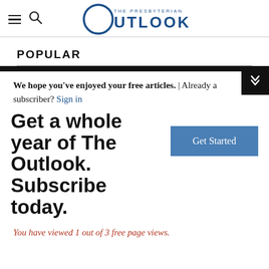THE PRESBYTERIAN OUTLOOK
POPULAR
We hope you've enjoyed your free articles. | Already a subscriber? Sign in
Get a whole year of The Outlook. Subscribe today.
You have viewed 1 out of 3 free page views.